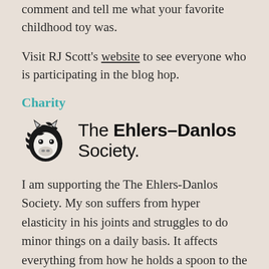comment and tell me what your favorite childhood toy was.
Visit RJ Scott's website to see everyone who is participating in the blog hop.
Charity
[Figure (logo): The Ehlers-Danlos Society logo with a zebra head illustration and the text 'The Ehlers-Danlos Society.']
I am supporting the The Ehlers-Danlos Society. My son suffers from hyper elasticity in his joints and struggles to do minor things on a daily basis. It affects everything from how he holds a spoon to the way he sits and can be very frustrating for him.